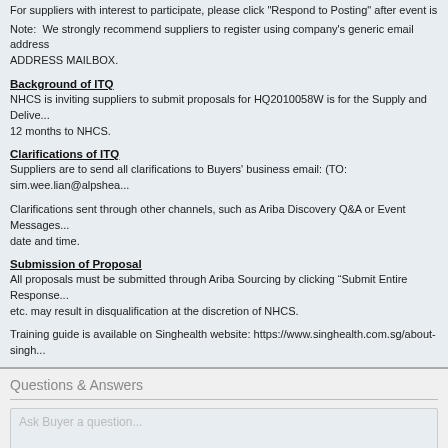For suppliers with interest to participate, please click "Respond to Posting" after event is op...
Note:  We strongly recommend suppliers to register using company's generic email address... ADDRESS MAILBOX.
Background of ITQ
NHCS is inviting suppliers to submit proposals for HQ2010058W is for the Supply and Delive... 12 months to NHCS.
Clarifications of ITQ
Suppliers are to send all clarifications to Buyers' business email: (TO: sim.wee.lian@alpshea...
Clarifications sent through other channels, such as Ariba Discovery Q&A or Event Messages... date and time.
Submission of Proposal
All proposals must be submitted through Ariba Sourcing by clicking “Submit Entire Response... etc. may result in disqualification at the discretion of NHCS.
Training guide is available on Singhealth website: https://www.singhealth.com.sg/about-singh...
Questions & Answers
Ask Buyer a question...